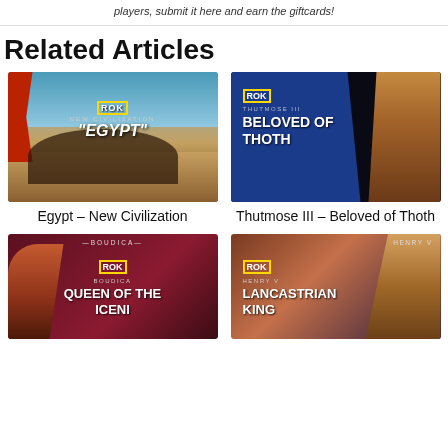players, submit it here and earn the giftcards!
Related Articles
[Figure (illustration): Egypt New Civilization promotional image showing ancient Egyptian soldiers and scenery with ROK logo]
Egypt – New Civilization
[Figure (illustration): Thutmose III Beloved of Thoth promotional image with character on dark blue background with ROK logo]
Thutmose III – Beloved of Thoth
[Figure (illustration): Boudica Queen of the Iceni promotional image with character on dark red background with ROK logo]
[Figure (illustration): Henry V Lancastrian King promotional image with character on mixed background with ROK logo]